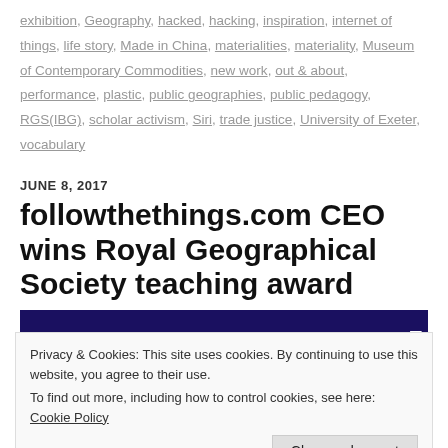exhibition, Geography, hacked, hacking, inspiration, internet of things, life story, Made in China, materialities, materiality, Museum of Contemporary Commodities, new work, out & about, performance, plastic, public geographies, public pedagogy, RGS(IBG), scholar activism, Siri, trade justice, University of Exeter, vocabulary
JUNE 8, 2017
followthethings.com CEO wins Royal Geographical Society teaching award
[Figure (photo): Dark navy/purple banner image with white italic text reading 'Award' partially visible on the right side]
Privacy & Cookies: This site uses cookies. By continuing to use this website, you agree to their use.
To find out more, including how to control cookies, see here: Cookie Policy